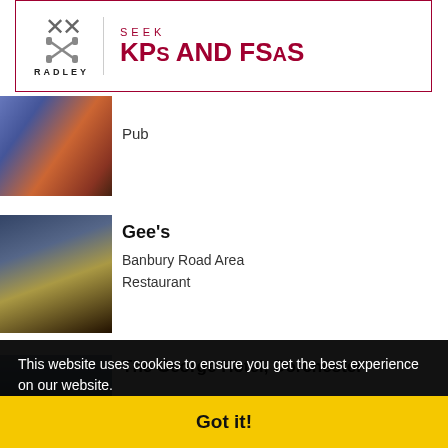[Figure (other): Radley College advertisement banner with crossed keys logo and text 'SEEK KPs AND FSAs']
[Figure (photo): Street scene photo with colorful shop fronts]
Pub
[Figure (photo): Night-time exterior photo of Gee's restaurant]
Gee's
Banbury Road Area
Restaurant
[Figure (photo): Partial photo of The George Hotel, Dorchester]
The George Hotel, Dorchester
This website uses cookies to ensure you get the best experience on our website.
Learn more
George Street Social
Got it!